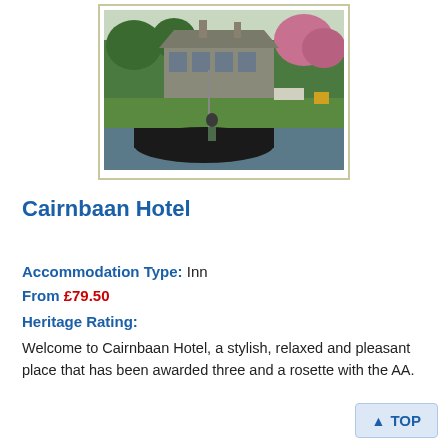[Figure (photo): Exterior photo of Cairnbaan Hotel showing stone building with trees and a boat/canal in the foreground]
Cairnbaan Hotel
Accommodation Type: Inn
From £79.50
Heritage Rating:
Welcome to Cairnbaan Hotel, a stylish, relaxed and pleasant place that has been awarded three and a rosette with the AA.